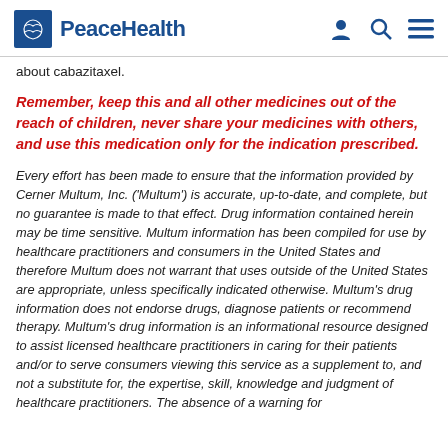PeaceHealth
about cabazitaxel.
Remember, keep this and all other medicines out of the reach of children, never share your medicines with others, and use this medication only for the indication prescribed.
Every effort has been made to ensure that the information provided by Cerner Multum, Inc. ('Multum') is accurate, up-to-date, and complete, but no guarantee is made to that effect. Drug information contained herein may be time sensitive. Multum information has been compiled for use by healthcare practitioners and consumers in the United States and therefore Multum does not warrant that uses outside of the United States are appropriate, unless specifically indicated otherwise. Multum's drug information does not endorse drugs, diagnose patients or recommend therapy. Multum's drug information is an informational resource designed to assist licensed healthcare practitioners in caring for their patients and/or to serve consumers viewing this service as a supplement to, and not a substitute for, the expertise, skill, knowledge and judgment of healthcare practitioners. The absence of a warning for